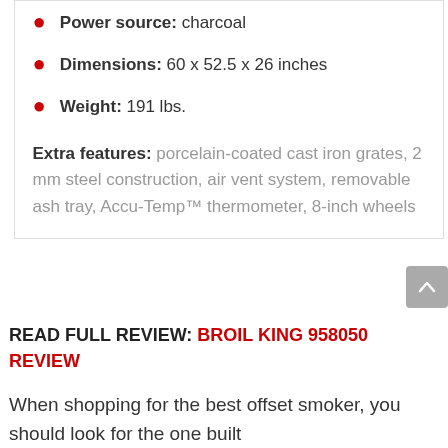Power source: charcoal
Dimensions: 60 x 52.5 x 26 inches
Weight: 191 lbs.
Extra features: porcelain-coated cast iron grates, 2 mm steel construction, air vent system, removable ash tray, Accu-Temp™ thermometer, 8-inch wheels
READ FULL REVIEW: BROIL KING 958050 REVIEW
When shopping for the best offset smoker, you should look for the one built